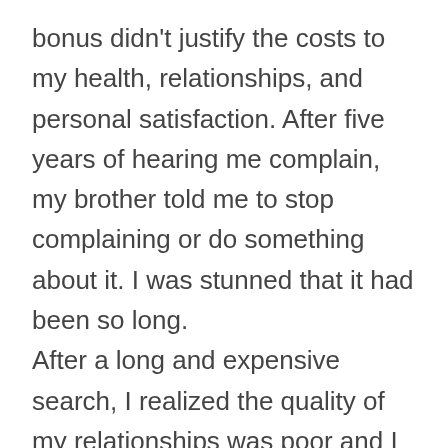bonus didn't justify the costs to my health, relationships, and personal satisfaction. After five years of hearing me complain, my brother told me to stop complaining or do something about it. I was stunned that it had been so long.
After a long and expensive search, I realized the quality of my relationships was poor and I wasn't taking care of other people or myself. When I committed to creating fantastic relationships and high-performing teams in every area of my life that mattered, my life transformed.
I was promoted. Now I'm picked to lead teams and frequently thanked for my